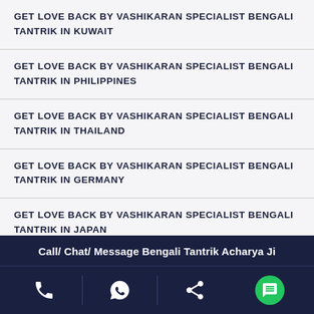GET LOVE BACK BY VASHIKARAN SPECIALIST BENGALI TANTRIK IN KUWAIT
GET LOVE BACK BY VASHIKARAN SPECIALIST BENGALI TANTRIK IN PHILIPPINES
GET LOVE BACK BY VASHIKARAN SPECIALIST BENGALI TANTRIK IN THAILAND
GET LOVE BACK BY VASHIKARAN SPECIALIST BENGALI TANTRIK IN GERMANY
GET LOVE BACK BY VASHIKARAN SPECIALIST BENGALI TANTRIK IN JAPAN
Call/ Chat/ Message Bengali Tantrik Acharya Ji